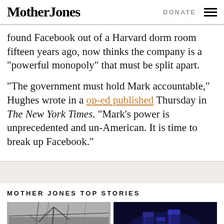Mother Jones | DONATE
found Facebook out of a Harvard dorm room fifteen years ago, now thinks the company is a “powerful monopoly” that must be split apart.
“The government must hold Mark accountable,” Hughes wrote in a op-ed published Thursday in The New York Times. “Mark’s power is unprecedented and un-American. It is time to break up Facebook.”
MOTHER JONES TOP STORIES
[Figure (photo): Two grayscale photos side by side: left shows people outdoors near trees in winter, right shows a dark blue-tinted industrial or architectural scene.]